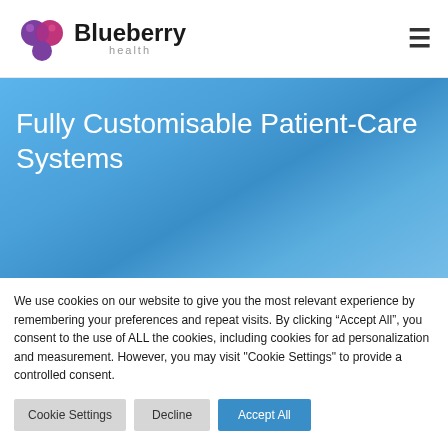[Figure (logo): Blueberry Health logo with purple circular icon and brand name]
Fully Customisable Patient-Care Systems
We use cookies on our website to give you the most relevant experience by remembering your preferences and repeat visits. By clicking “Accept All”, you consent to the use of ALL the cookies, including cookies for ad personalization and measurement. However, you may visit "Cookie Settings" to provide a controlled consent.
Cookie Settings
Decline
Accept All